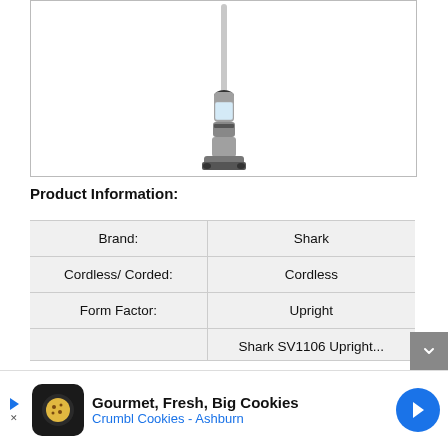[Figure (photo): Shark upright cordless vacuum cleaner product image shown against white background inside a bordered box]
Product Information:
|  |  |
| --- | --- |
| Brand: | Shark |
| Cordless/ Corded: | Cordless |
| Form Factor: | Upright |
|  | Shark SV1106 Upright... |
[Figure (other): Advertisement banner: Gourmet, Fresh, Big Cookies - Crumbl Cookies - Ashburn with logo and navigation icon]